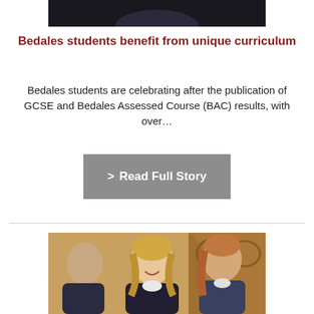[Figure (photo): Partial view of a person in a dark setting, top portion of image at page top]
Bedales students benefit from unique curriculum
Bedales students are celebrating after the publication of GCSE and Bedales Assessed Course (BAC) results, with over…
> Read Full Story
[Figure (photo): Students in school uniforms sitting and smiling in a wood-panelled hall, laughing]